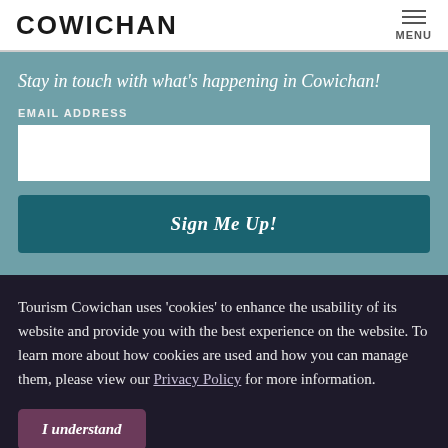COWICHAN
Stay in touch with what’s happening in Cowichan!
EMAIL ADDRESS
Sign Me Up!
Tourism Cowichan uses ‘cookies’ to enhance the usability of its website and provide you with the best experience on the website. To learn more about how cookies are used and how you can manage them, please view our Privacy Policy for more information.
I understand